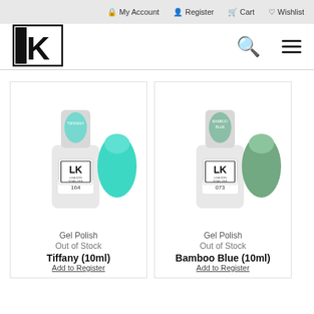My Account | Register | Cart | Wishlist
[Figure (logo): LK Lisa Kon logo — white K on black L in bordered box]
[Figure (photo): Gel polish bottle labeled Tiffany 164, LK Lisa Kon Soak-Off, with tiffany/turquoise nail swatch]
Gel Polish
Out of Stock
Tiffany (10ml)
[Figure (photo): Gel polish bottle labeled Bamboo Blue 073, LK Lisa Kon Soak-Off, with sage/green nail swatch]
Gel Polish
Out of Stock
Bamboo Blue (10ml)